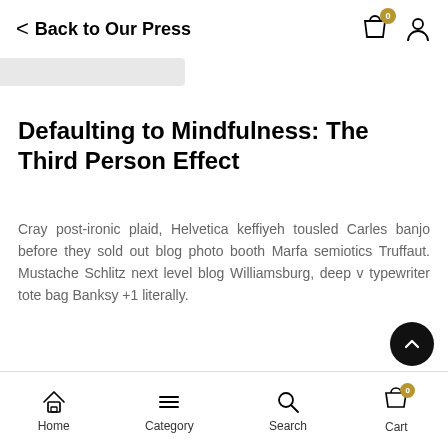Back to Our Press
Defaulting to Mindfulness: The Third Person Effect
Cray post-ironic plaid, Helvetica keffiyeh tousled Carles banjo before they sold out blog photo booth Marfa semiotics Truffaut. Mustache Schlitz next level blog Williamsburg, deep v typewriter tote bag Banksy +1 literally.
Welsh novelist Sarah Waters sums it up eloquently
Home | Category | Search | Cart